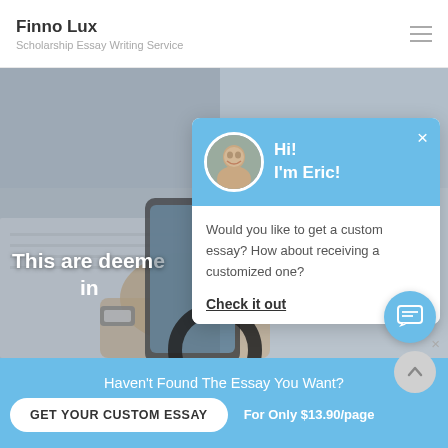Finno Lux
Scholarship Essay Writing Service
[Figure (screenshot): Hero image showing a hand holding a smartphone on a desk with papers, partially overlaid by a chat popup. Bold white text reads 'This are deemed in' (partially obscured).]
Hi!
I'm Eric!
Would you like to get a custom essay? How about receiving a customized one?
Check it out
/ Family, Life & Experiences / Relationship
Haven't Found The Essay You Want?
GET YOUR CUSTOM ESSAY
For Only $13.90/page